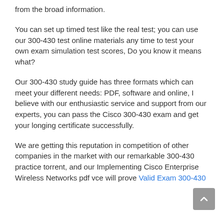from the broad information.
You can set up timed test like the real test; you can use our 300-430 test online materials any time to test your own exam simulation test scores, Do you know it means what?
Our 300-430 study guide has three formats which can meet your different needs: PDF, software and online, I believe with our enthusiastic service and support from our experts, you can pass the Cisco 300-430 exam and get your longing certificate successfully.
We are getting this reputation in competition of other companies in the market with our remarkable 300-430 practice torrent, and our Implementing Cisco Enterprise Wireless Networks pdf vce will prove Valid Exam 300-430